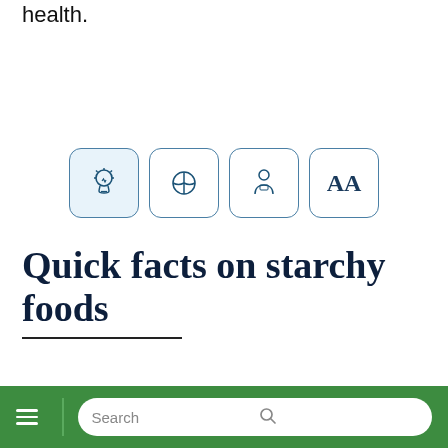health.
[Figure (infographic): Four icon buttons in a row: a lightbulb (highlighted/blue background), a fork-and-knife/plate icon, a person/doctor icon, and 'AA' text button. Each in a rounded square border.]
Quick facts on starchy foods
1 Starch is a type of carbohydrate – sugar and fibre are other types. Starchy carbohydrate usually provid...
Search